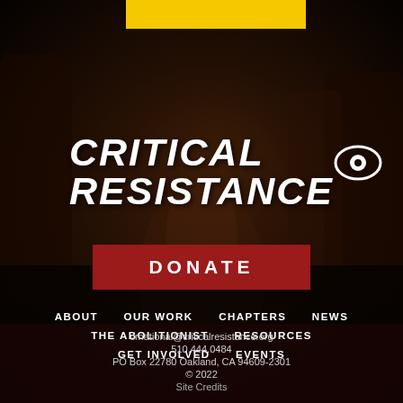[Figure (photo): Background photo of people at an event, dark-toned, with a person in the foreground sitting/dancing; crowd and drum visible in background]
CRITICAL RESISTANCE
DONATE
ABOUT
OUR WORK
CHAPTERS
NEWS
THE ABOLITIONIST
RESOURCES
GET INVOLVED
EVENTS
crnational@criticalresistance.org
510.444.0484
PO Box 22780 Oakland, CA 94609-2301
© 2022
Site Credits